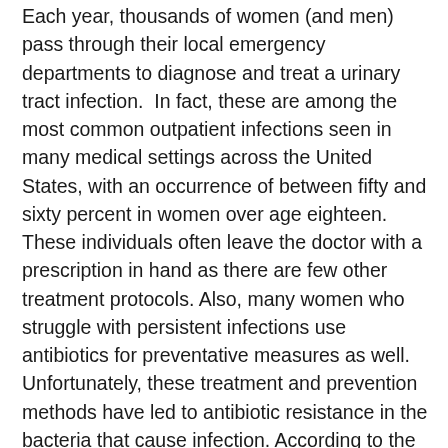Each year, thousands of women (and men) pass through their local emergency departments to diagnose and treat a urinary tract infection.  In fact, these are among the most common outpatient infections seen in many medical settings across the United States, with an occurrence of between fifty and sixty percent in women over age eighteen. These individuals often leave the doctor with a prescription in hand as there are few other treatment protocols. Also, many women who struggle with persistent infections use antibiotics for preventative measures as well. Unfortunately, these treatment and prevention methods have led to antibiotic resistance in the bacteria that cause infection. According to the American Society for Microbiology, the number of antibiotic resistant urinary tract infections has doubled in the last decade (from 8% to 15%).
If you are one of the thousands of people who suffer from one or more urinary tract infections each year, you have